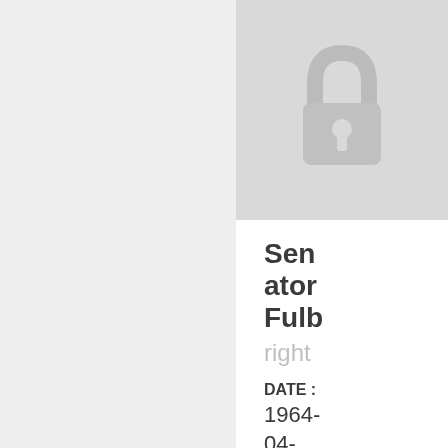[Figure (photo): Redacted photo placeholder with a lock icon on a light grey background]
Senator Fulb
right
DATE : 1964-04-07